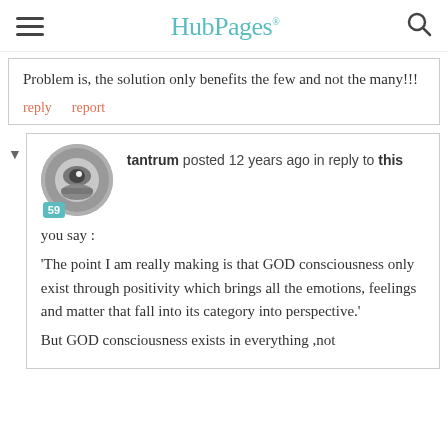HubPages
Problem is, the solution only benefits the few and not the many!!!
reply   report
tantrum posted 12 years ago in reply to this
you say :
'The point I am really making is that GOD consciousness only exist through positivity which brings all the emotions, feelings and matter that fall into its category into perspective.'

But GOD consciousness exists in everything ,not